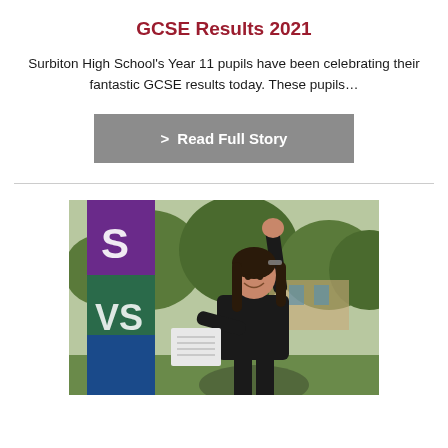GCSE Results 2021
Surbiton High School's Year 11 pupils have been celebrating their fantastic GCSE results today. These pupils…
> Read Full Story
[Figure (photo): A young female student in a black outfit raising her fist in celebration while holding GCSE result papers, standing in front of a school banner with purple and green colours and trees in the background]